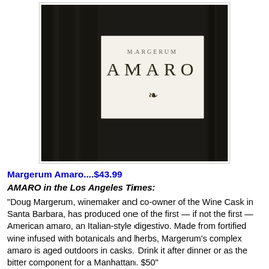[Figure (photo): Close-up photo of a dark wine/spirit bottle with a cream-colored label reading 'MARGERUM AMARO' with a small decorative emblem below the text.]
Margerum Amaro....$43.99
AMARO in the Los Angeles Times:
"Doug Margerum, winemaker and co-owner of the Wine Cask in Santa Barbara, has produced one of the first — if not the first — American amaro, an Italian-style digestivo. Made from fortified wine infused with botanicals and herbs, Margerum's complex amaro is aged outdoors in casks. Drink it after dinner or as the bitter component for a Manhattan. $50"